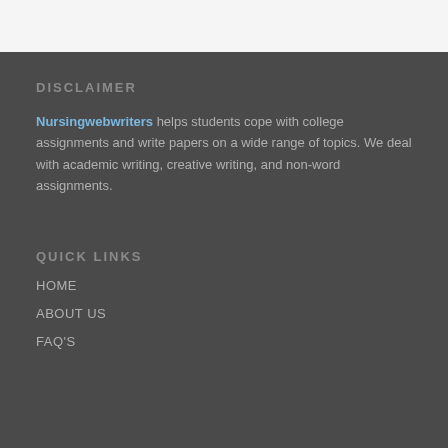DISCLAIMER
Nursingwebwriters helps students cope with college assignments and write papers on a wide range of topics. We deal with academic writing, creative writing, and non-word assignments.
QUICK LINKS
HOME
ABOUT US
FAQ'S